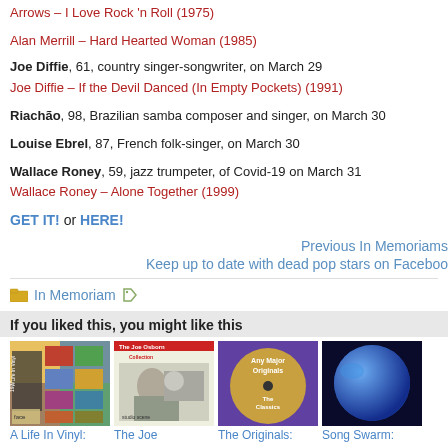Arrows – I Love Rock 'n Roll (1975)
Alan Merrill – Hard Hearted Woman (1985)
Joe Diffie, 61, country singer-songwriter, on March 29
Joe Diffie – If the Devil Danced (In Empty Pockets) (1991)
Riachão, 98, Brazilian samba composer and singer, on March 30
Louise Ebrel, 87, French folk-singer, on March 30
Wallace Roney, 59, jazz trumpeter, of Covid-19 on March 31
Wallace Roney – Alone Together (1999)
GET IT! or HERE!
Previous In Memoriams
Keep up to date with dead pop stars on Facebook
In Memoriam
If you liked this, you might like this
[Figure (photo): Album cover: A Life In Vinyl]
[Figure (photo): Album cover: The Joe Osborn Collection]
[Figure (photo): Album cover: The Originals: Any Major Originals - The Classics]
[Figure (photo): Album cover: Song Swarm - blue planet/moon image]
A Life In Vinyl:
The Joe
The Originals:
Song Swarm: